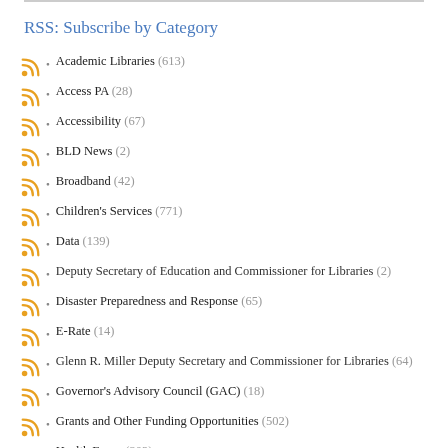RSS: Subscribe by Category
Academic Libraries (613)
Access PA (28)
Accessibility (67)
BLD News (2)
Broadband (42)
Children's Services (771)
Data (139)
Deputy Secretary of Education and Commissioner for Libraries (2)
Disaster Preparedness and Response (65)
E-Rate (14)
Glenn R. Miller Deputy Secretary and Commissioner for Libraries (64)
Governor's Advisory Council (GAC) (18)
Grants and Other Funding Opportunities (502)
Health Focus (302)
ILEAD USA (22)